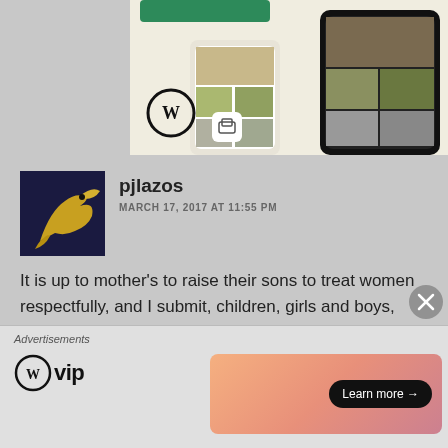[Figure (screenshot): Top portion of a WordPress website builder advertisement showing a food/restaurant menu app with food photos on mobile screens, WordPress logo circle and small square icon visible]
pjlazos
MARCH 17, 2017 AT 11:55 PM
It is up to mother's to raise their sons to treat women respectfully, and I submit, children, girls and boys, should be treated the same and equally. That will bring about a change faster than most anything, I think.
★ Liked by 1 person
Advertisements
[Figure (logo): WordPress VIP logo with WordPress circle icon and 'vip' text]
[Figure (screenshot): Orange/coral gradient advertisement banner with 'Learn more →' button in dark pill shape]